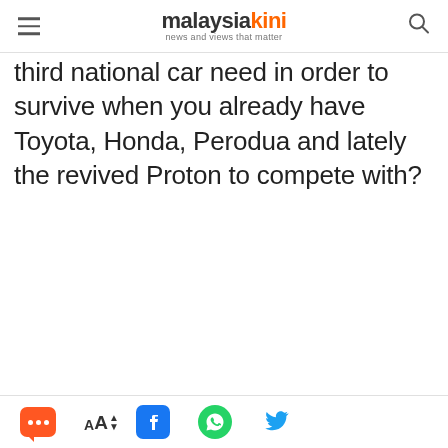malaysiakini — news and views that matter
third national car need in order to survive when you already have Toyota, Honda, Perodua and lately the revived Proton to compete with?
[Figure (infographic): Malaysiakini advertisement banner with dark blue background showing logo, 'Stay ahead of what is ahead' headline, and a teal 'SUBSCRIBE NOW' button]
Bottom toolbar with chat, font size, Facebook, WhatsApp, and Twitter icons